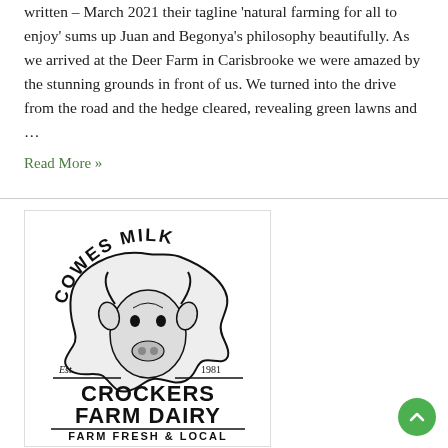written – March 2021 their tagline 'natural farming for all to enjoy' sums up Juan and Begonya's philosophy beautifully. As we arrived at the Deer Farm in Carisbrooke we were amazed by the stunning grounds in front of us. We turned into the drive from the road and the hedge cleared, revealing green lawns and …
Read More »
[Figure (logo): Cowes Milk – Crockers Farm Dairy logo. Black and white logo with a cow head silhouette, text reading COWES MILK arched at top, Est. 1981, CROCKERS FARM DAIRY in large bold text, FARM FRESH & LOCAL at bottom.]